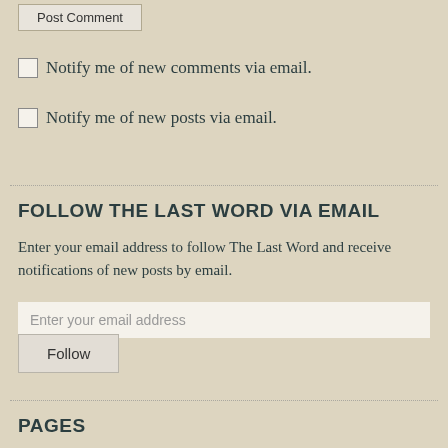[Figure (other): Post Comment button at top of page]
Notify me of new comments via email.
Notify me of new posts via email.
FOLLOW THE LAST WORD VIA EMAIL
Enter your email address to follow The Last Word and receive notifications of new posts by email.
[Figure (other): Email address input field with placeholder text 'Enter your email address']
[Figure (other): Follow button]
PAGES